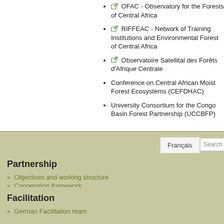OFAC - Observatory for the Forests of Central Africa
RIFFEAC - Network of Training Institutions and Environmental Forest of Central Africa
Observatoire Satellital des Forêts d'Afrique Centrale
Conference on Central African Moist Forest Ecosystems (CEFDHAC)
University Consortium for the Congo Basin Forest Partnership (UCCBFP)
Partnership
Objectives and working structure
Cooperation framework
COMIFAC
Facilitation
German Facilitation team